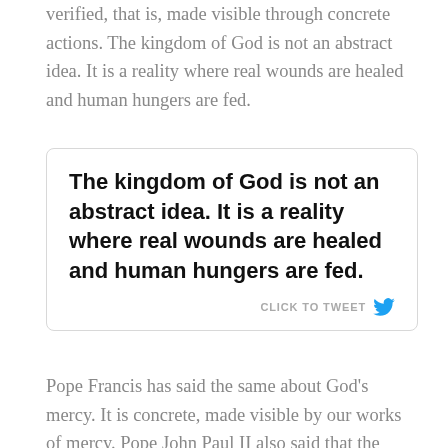verified, that is, made visible through concrete actions. The kingdom of God is not an abstract idea. It is a reality where real wounds are healed and human hungers are fed.
The kingdom of God is not an abstract idea. It is a reality where real wounds are healed and human hungers are fed. CLICK TO TWEET
Pope Francis has said the same about God's mercy. It is concrete, made visible by our works of mercy. Pope John Paul II also said that the authenticity of the Eucharist is judged by our love for those in need.